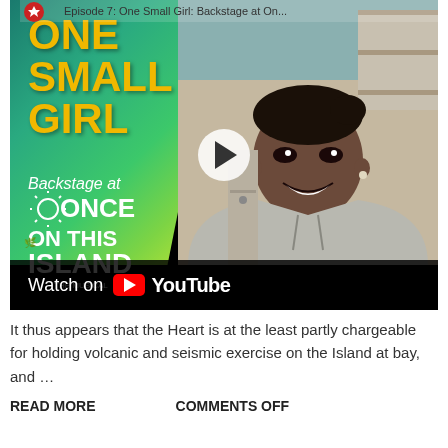[Figure (screenshot): YouTube video thumbnail showing 'One Small Girl: Backstage at Once On This Island the Musical'. Left side shows teal/green graphic with yellow text 'ONE SMALL GIRL' and white text 'Backstage at Once On This Island The Musical'. Right side shows a Black woman smiling in a gray hoodie in an office/backstage setting. A play button is visible in the center. Bottom has a dark bar with 'Watch on YouTube' text.]
It thus appears that the Heart is at the least partly chargeable for holding volcanic and seismic exercise on the Island at bay, and …
READ MORE
COMMENTS OFF